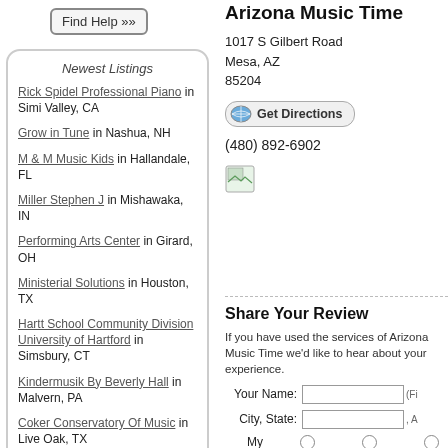[Figure (other): Find Help button]
Newest Listings
Rick Spidel Professional Piano in Simi Valley, CA
Grow in Tune in Nashua, NH
M & M Music Kids in Hallandale, FL
Miller Stephen J in Mishawaka, IN
Performing Arts Center in Girard, OH
Ministerial Solutions in Houston, TX
Hartt School Community Division University of Hartford in Simsbury, CT
Kindermusik By Beverly Hall in Malvern, PA
Coker Conservatory Of Music in Live Oak, TX
Hebert Piano Service in Pasadena, CA
Gymboree in Pine Brook, NJ
Tom's Music in Victorville, CA
Piano Lessons People's Homes in Hayward, CA
Arizona Music Time
1017 S Gilbert Road
Mesa, AZ
85204
[Figure (other): Get Directions button with globe icon]
(480) 892-6902
[Figure (other): Small map/image placeholder icon]
Share Your Review
If you have used the services of Arizona Music Time we'd like to hear about your experience.
Your Name: [text input] (Fi...
City, State: [text input] , A...
My Rating: [thumb icon] [radio+stars] [radio+stars] [radio+stars]